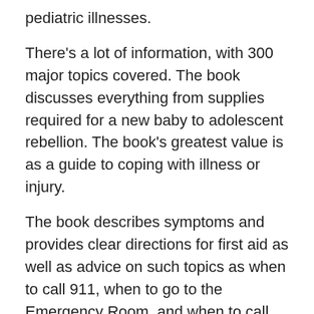pediatric illnesses.
There's a lot of information, with 300 major topics covered. The book discusses everything from supplies required for a new baby to adolescent rebellion. The book's greatest value is as a guide to coping with illness or injury.
The book describes symptoms and provides clear directions for first aid as well as advice on such topics as when to call 911, when to go to the Emergency Room, and when to call the doctor immediately.
Every nanny ought to own this book. If you need a gift for a nanny or au pair give it as a gift. But every public library should have a copy as well.
Purchase your own copy by clicking image or link below and don't forget to stop by next Saturday for